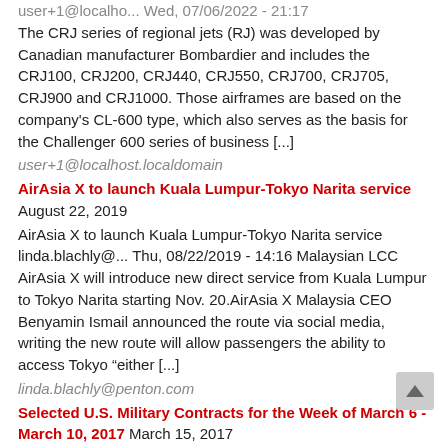user+1@localho... Wed, 07/06/2022 - 21:17
The CRJ series of regional jets (RJ) was developed by Canadian manufacturer Bombardier and includes the CRJ100, CRJ200, CRJ440, CRJ550, CRJ700, CRJ705, CRJ900 and CRJ1000. Those airframes are based on the company’s CL-600 type, which also serves as the basis for the Challenger 600 series of business [...]
user+1@localhost.localdomain
AirAsia X to launch Kuala Lumpur-Tokyo Narita service August 22, 2019
AirAsia X to launch Kuala Lumpur-Tokyo Narita service linda.blachly@... Thu, 08/22/2019 - 14:16 Malaysian LCC AirAsia X will introduce new direct service from Kuala Lumpur to Tokyo Narita starting Nov. 20.AirAsia X Malaysia CEO Benyamin Ismail announced the route via social media, writing the new route will allow passengers the ability to access Tokyo “either [...]
linda.blachly@penton.com
Selected U.S. Military Contracts for the Week of March 6 - March 10, 2017 March 15, 2017